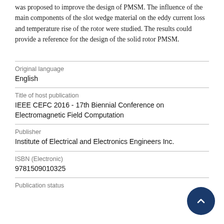was proposed to improve the design of PMSM. The influence of the main components of the slot wedge material on the eddy current loss and temperature rise of the rotor were studied. The results could provide a reference for the design of the solid rotor PMSM.
| Original language | English |
| Title of host publication | IEEE CEFC 2016 - 17th Biennial Conference on Electromagnetic Field Computation |
| Publisher | Institute of Electrical and Electronics Engineers Inc. |
| ISBN (Electronic) | 9781509010325 |
| Publication status |  |